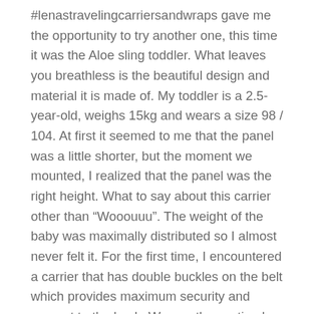#lenastravelingcarriersandwraps gave me the opportunity to try another one, this time it was the Aloe sling toddler. What leaves you breathless is the beautiful design and material it is made of. My toddler is a 2.5-year-old, weighs 15kg and wears a size 98 / 104. At first it seemed to me that the panel was a little shorter, but the moment we mounted, I realized that the panel was the right height. What to say about this carrier other than “Wooouuu”. The weight of the baby was maximally distributed so I almost never felt it. For the first time, I encountered a carrier that has double buckles on the belt which provides maximum security and support to the back. We mostly practiced wearing the front, because it suited us both. I also tried cross straps, but I found it more comfortable to wear parallel. I